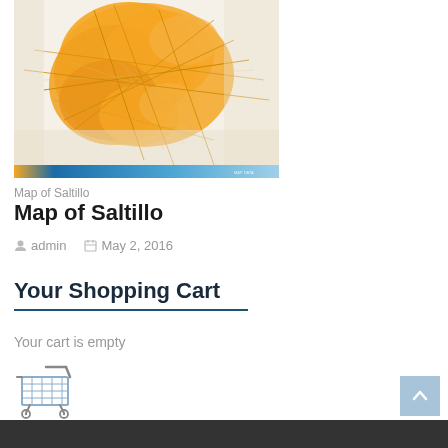[Figure (map): Urban street map of Saltillo, Mexico showing city districts in orange/yellow tones with road network, with a blue gradient banner at the bottom of the map image]
Map of Saltillo
Map of Saltillo
admin   May 2, 2016
Your Shopping Cart
Your cart is empty
[Figure (illustration): Shopping cart icon illustration]